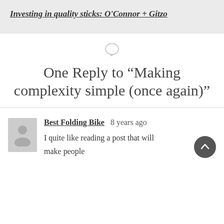Investing in quality sticks: O'Connor + Gitzo
One Reply to “Making complexity simple (once again)”
Best Folding Bike  8 years ago
I quite like reading a post that will make people